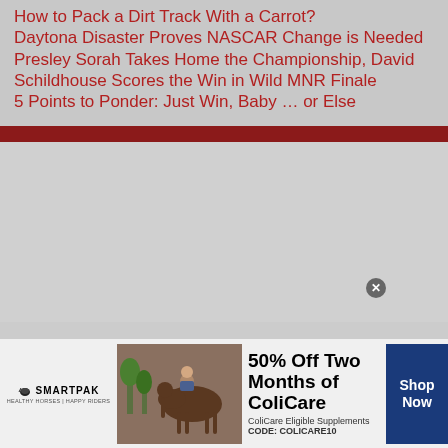How to Pack a Dirt Track With a Carrot?
Daytona Disaster Proves NASCAR Change is Needed
Presley Sorah Takes Home the Championship, David Schildhouse Scores the Win in Wild MNR Finale
5 Points to Ponder: Just Win, Baby … or Else
[Figure (other): SmartPak advertisement banner showing a horse and rider. Text reads: 50% Off Two Months of ColiCare. ColiCare Eligible Supplements. CODE: COLICARE10. Shop Now button. SmartPak logo.]